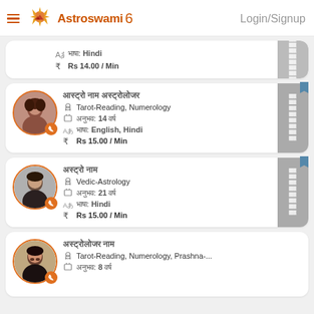Astroswami | Login/Signup
भाषा: Hindi | Rs 14.00 / Min
अस्ट्रोलॉजर नाम | Tarot-Reading, Numerology | अनुभव: 14 वर्ष | भाषा: English, Hindi | Rs 15.00 / Min
अस्ट्रोलॉजर नाम | Vedic-Astrology | अनुभव: 21 वर्ष | भाषा: Hindi | Rs 15.00 / Min
अस्ट्रोलॉजर नाम | Tarot-Reading, Numerology, Prashna-... | अनुभव: 8 वर्ष